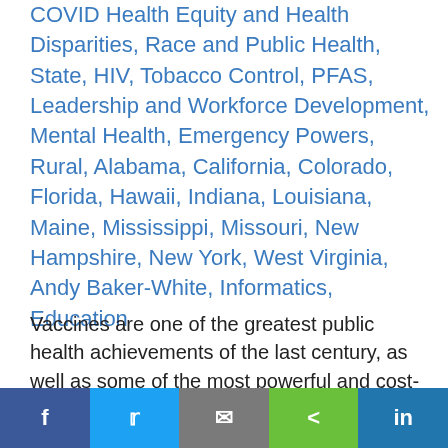COVID Health Equity and Health Disparities, Race and Public Health, State, HIV, Tobacco Control, PFAS, Leadership and Workforce Development, Mental Health, Emergency Powers, Rural, Alabama, California, Colorado, Florida, Hawaii, Indiana, Louisiana, Maine, Mississippi, Missouri, New Hampshire, New York, West Virginia, Andy Baker-White, Informatics, Education
Vaccines are one of the greatest public health achievements of the last century, as well as some of the most powerful and cost-effective tools to prevent disease, disparities, disability, and death ...
How to Support Youth Post COVID